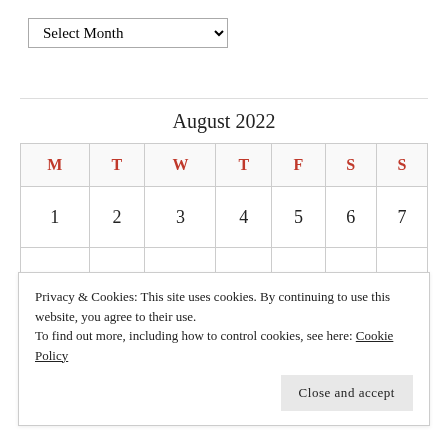Select Month
August 2022
| M | T | W | T | F | S | S |
| --- | --- | --- | --- | --- | --- | --- |
| 1 | 2 | 3 | 4 | 5 | 6 | 7 |
|  |  |  |  |  |  |  |
Privacy & Cookies: This site uses cookies. By continuing to use this website, you agree to their use.
To find out more, including how to control cookies, see here: Cookie Policy
Close and accept